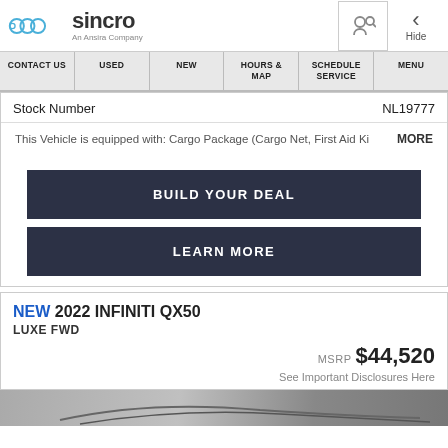sincro An Ansira Company — navigation: CONTACT US | USED | NEW | HOURS & MAP | SCHEDULE SERVICE | MENU
Stock Number NL19777
This Vehicle is equipped with: Cargo Package (Cargo Net, First Aid Ki MORE
BUILD YOUR DEAL
LEARN MORE
NEW 2022 INFINITI QX50
LUXE FWD
MSRP $44,520
See Important Disclosures Here
[Figure (photo): Bottom strip showing partial vehicle image in grayscale]